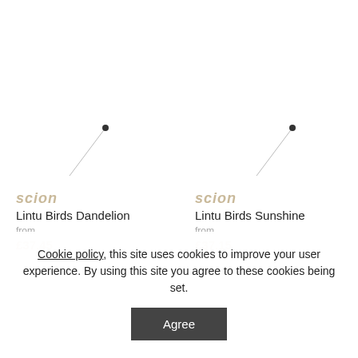[Figure (illustration): Pin/needle illustration for Lintu Birds Dandelion product]
scion
Lintu Birds Dandelion
from
[Figure (illustration): Pin/needle illustration for Lintu Birds Sunshine product]
scion
Lintu Birds Sunshine
from
Cookie policy, this site uses cookies to improve your user experience. By using this site you agree to these cookies being set.
Agree